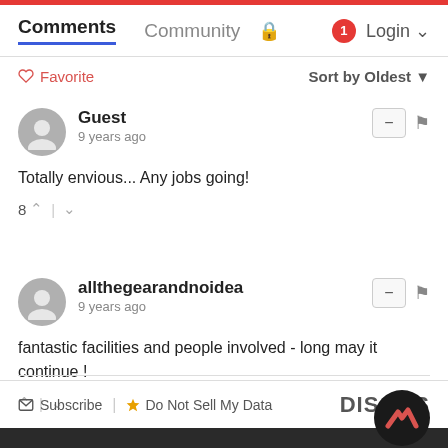Comments  Community  Login
♡ Favorite    Sort by Oldest
Guest
9 years ago
Totally envious... Any jobs going!
8 ▲ | ▼
allthegearandnoidea
9 years ago
fantastic facilities and people involved - long may it continue !
▲ | ▼
✉ Subscribe  ⚠ Do Not Sell My Data    DISQUS